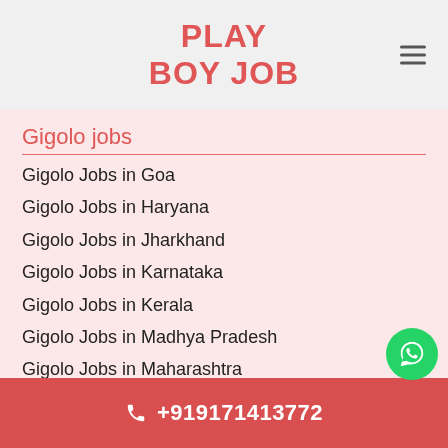PLAY BOY JOB
Gigolo jobs
Gigolo Jobs in Goa
Gigolo Jobs in Haryana
Gigolo Jobs in Jharkhand
Gigolo Jobs in Karnataka
Gigolo Jobs in Kerala
Gigolo Jobs in Madhya Pradesh
Gigolo Jobs in Maharashtra
Gigolo jobs
Gigolo Jobs in Meghalaya
+919171413772